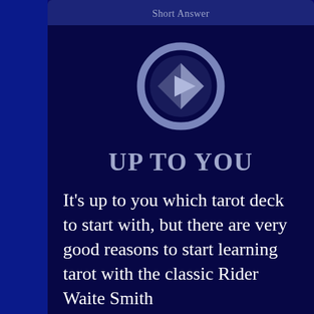Short Answer
[Figure (illustration): A circular play button icon with a compass/navigation arrow inside, rendered in muted steel blue/lavender tones on a dark navy background.]
UP TO YOU
It's up to you which tarot deck to start with, but there are very good reasons to start learning tarot with the classic Rider Waite Smith